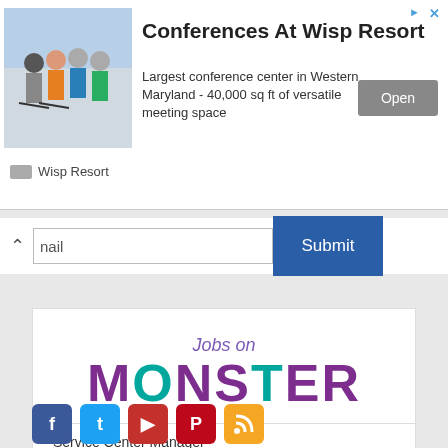[Figure (photo): Group of people skiing/snowboarding on a mountain, wearing colorful winter gear]
Conferences At Wisp Resort
Largest conference center in Western Maryland - 40,000 sq ft of versatile meeting space
Open
Wisp Resort
nail
Submit
[Figure (logo): Jobs on Monster logo - Monster text in purple and teal]
Service Center Manager
McElroy Metal, Union City, GA
Hendrick Automotive Group Auto Body Collisio...
Hendrick Automotive Group..., Rock Hill, SC
Administrative Associate I
City Of Cumberland, Cresaptown, Mar
View More Jobs